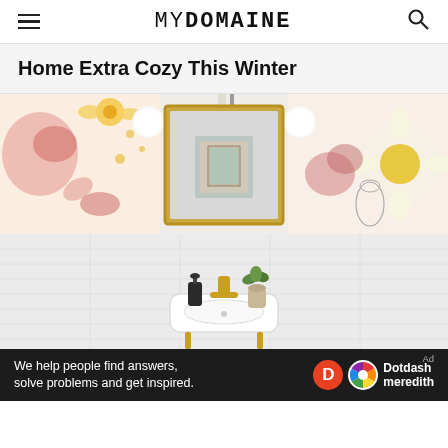MYDOMAINE
Home Extra Cozy This Winter
[Figure (photo): Bathroom with decorative floral wallpaper showing roses, daisies and botanical illustrations. A gold-framed mirror hangs on the wall, with two globe light sconces. Below is a white pedestal sink with gold faucet, a black soap dispenser, and a small potted plant. A cord with white tassel hangs on the left side.]
We help people find answers, solve problems and get inspired.
[Figure (logo): Dotdash Meredith logo with orange D circle icon and colorful flower icon]